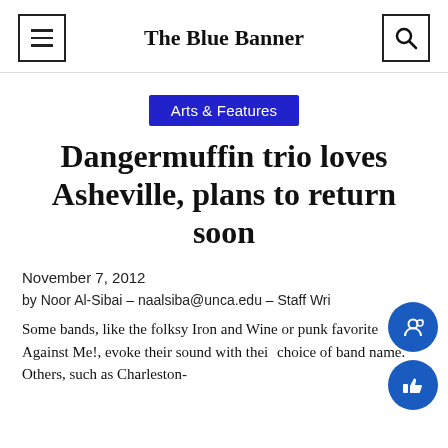The Blue Banner
Arts & Features
Dangermuffin trio loves Asheville, plans to return soon
November 7, 2012
by Noor Al-Sibai – naalsiba@unca.edu – Staff Writer
Some bands, like the folksy Iron and Wine or punk favorite Against Me!, evoke their sound with their choice of band name. Others, such as Charleston-